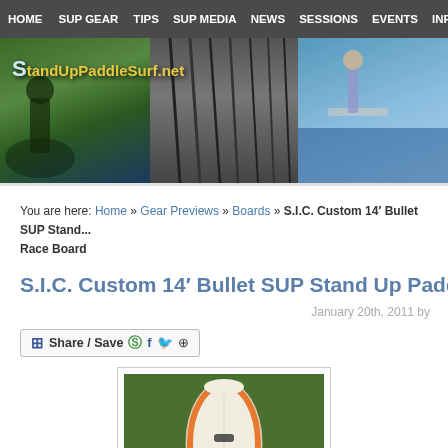HOME | SUP GEAR | TIPS | SUP MEDIA | NEWS | SESSIONS | EVENTS | INF
[Figure (illustration): StandUpPaddleSurf.net website header banner with logo and action photos of paddle boarding]
You are here: Home » Gear Previews » Boards » S.I.C. Custom 14' Bullet SUP Stand... Race Board
S.I.C. Custom 14' Bullet SUP Stand Up Paddle Race B...
January 20th, 2011 by
[Figure (screenshot): Share / Save social media button widget with Facebook, Twitter icons]
[Figure (photo): Top-down view of a SUP (Stand Up Paddle) race board on grass, showing orange and white deck with fin box]